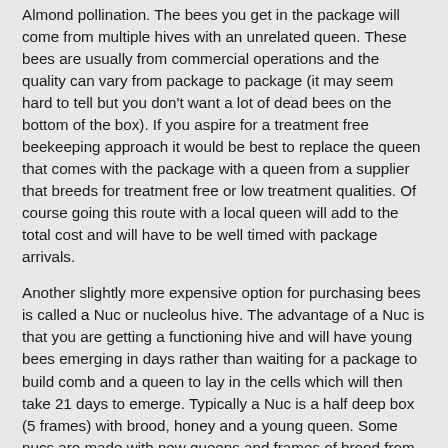Almond pollination. The bees you get in the package will come from multiple hives with an unrelated queen. These bees are usually from commercial operations and the quality can vary from package to package (it may seem hard to tell but you don't want a lot of dead bees on the bottom of the box). If you aspire for a treatment free beekeeping approach it would be best to replace the queen that comes with the package with a queen from a supplier that breeds for treatment free or low treatment qualities. Of course going this route with a local queen will add to the total cost and will have to be well timed with package arrivals.
Another slightly more expensive option for purchasing bees is called a Nuc or nucleolus hive. The advantage of a Nuc is that you are getting a functioning hive and will have young bees emerging in days rather than waiting for a package to build comb and a queen to lay in the cells which will then take 21 days to emerge. Typically a Nuc is a half deep box (5 frames) with brood, honey and a young queen. Some nucs are made with new queens and frames of brood from different hives put together in spring or even from packages started a few months before someplace warmer and brought